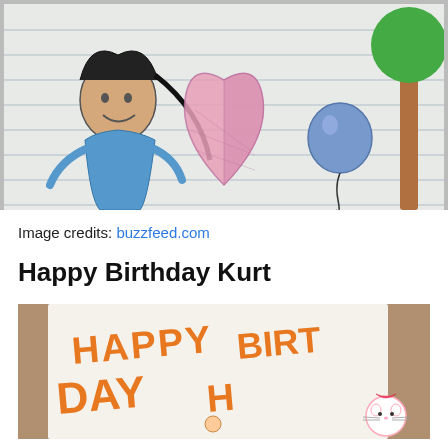[Figure (photo): Child's crayon drawing on lined notebook paper showing a girl figure with dark hair and blue shirt on the left, a large pink heart shape in the center, a blue balloon on the right side, and a green-topped tree in the upper right corner.]
Image credits: buzzfeed.com
Happy Birthday Kurt
[Figure (photo): Photo of a handmade birthday card with orange crayon writing that reads 'HAPPY BIRTHDAY' in large letters, with a Hello Kitty sticker visible in the bottom right corner.]